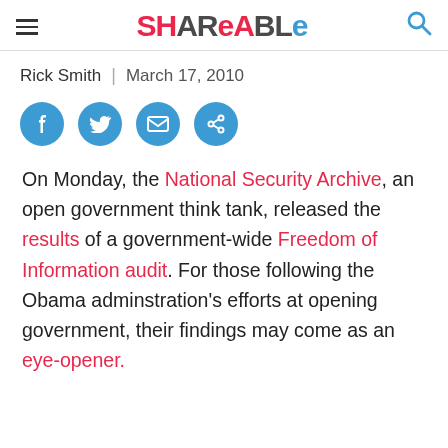SHAREABLE
Rick Smith | March 17, 2010
[Figure (other): Social share icons: Facebook, Twitter, Email, Share]
On Monday, the National Security Archive, an open government think tank, released the results of a government-wide Freedom of Information audit. For those following the Obama adminstration's efforts at opening government, their findings may come as an eye-opener.